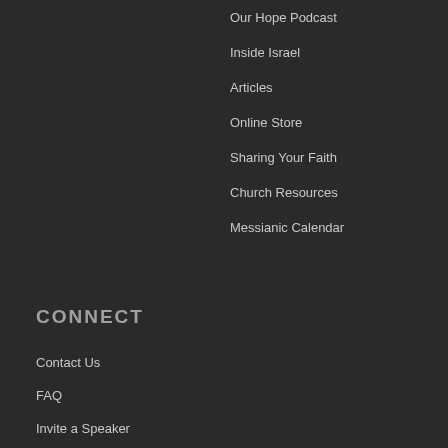Our Hope Podcast
Inside Israel
Articles
Online Store
Sharing Your Faith
Church Resources
Messianic Calendar
CONNECT
Contact Us
FAQ
Invite a Speaker